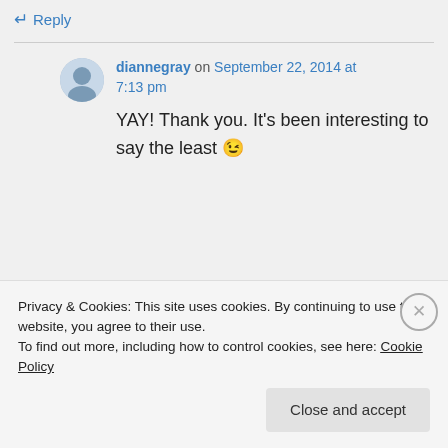↵ Reply
diannegray on September 22, 2014 at 7:13 pm
YAY! Thank you. It's been interesting to say the least 😉
nrhatch on September 23, 2014 at
Privacy & Cookies: This site uses cookies. By continuing to use this website, you agree to their use.
To find out more, including how to control cookies, see here: Cookie Policy
Close and accept